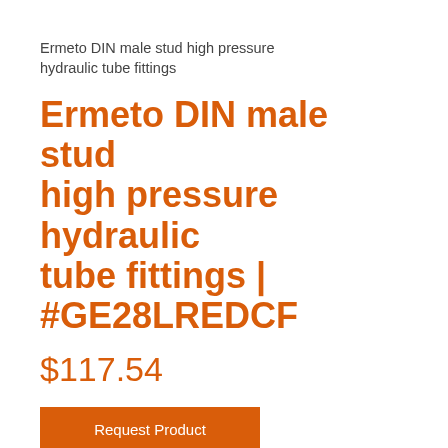Ermeto DIN male stud high pressure hydraulic tube fittings
Ermeto DIN male stud high pressure hydraulic tube fittings | #GE28LREDCF
$117.54
Request Product
EO-PSR – Ermeto Original Progressive Stop Ring fittings (acc. DIN 3861, DIN 2353) produce the high pressure, leak-free connections of tubes, components in hydraulic systems for reliable,